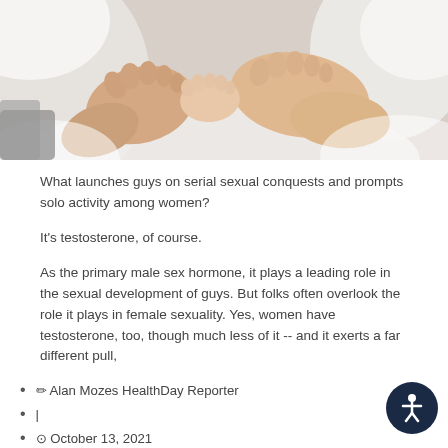[Figure (photo): Close-up photo of two pairs of bare feet resting together on white bed sheets]
What launches guys on serial sexual conquests and prompts solo activity among women?
It's testosterone, of course.
As the primary male sex hormone, it plays a leading role in the sexual development of guys. But folks often overlook the role it plays in female sexuality. Yes, women have testosterone, too, though much less of it -- and it exerts a far different pull,
✏ Alan Mozes HealthDay Reporter
|
⊙ October 13, 2021